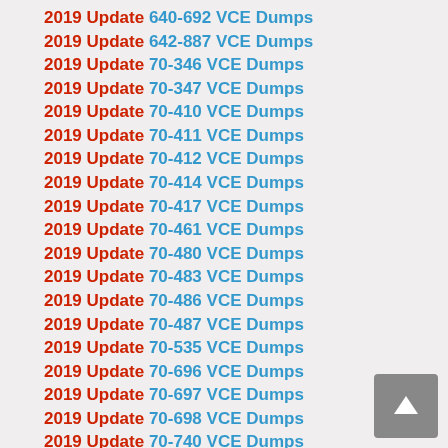2019 Update 640-692 VCE Dumps
2019 Update 642-887 VCE Dumps
2019 Update 70-346 VCE Dumps
2019 Update 70-347 VCE Dumps
2019 Update 70-410 VCE Dumps
2019 Update 70-411 VCE Dumps
2019 Update 70-412 VCE Dumps
2019 Update 70-414 VCE Dumps
2019 Update 70-417 VCE Dumps
2019 Update 70-461 VCE Dumps
2019 Update 70-480 VCE Dumps
2019 Update 70-483 VCE Dumps
2019 Update 70-486 VCE Dumps
2019 Update 70-487 VCE Dumps
2019 Update 70-535 VCE Dumps
2019 Update 70-696 VCE Dumps
2019 Update 70-697 VCE Dumps
2019 Update 70-698 VCE Dumps
2019 Update 70-740 VCE Dumps
2019 Update 70-741 VCE Dumps
2019 Update 70-742 VCE Dumps
2019 Update 70-743 VCE Dumps